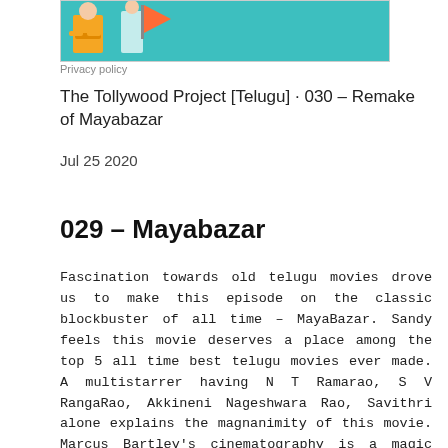[Figure (illustration): Partial view of a podcast/show promotional image with illustrated characters on a teal background]
Privacy policy
The Tollywood Project [Telugu] · 030 – Remake of Mayabazar
Jul 25 2020
029 – Mayabazar
Fascination towards old telugu movies drove us to make this episode on the classic blockbuster of all time – MayaBazar. Sandy feels this movie deserves a place among the top 5 all time best telugu movies ever made. A multistarrer having N T Ramarao, S V RangaRao, Akkineni Nageshwara Rao, Savithri alone explains the magnanimity of this movie. Marcus Bartley's cinematography is a magic till today. It